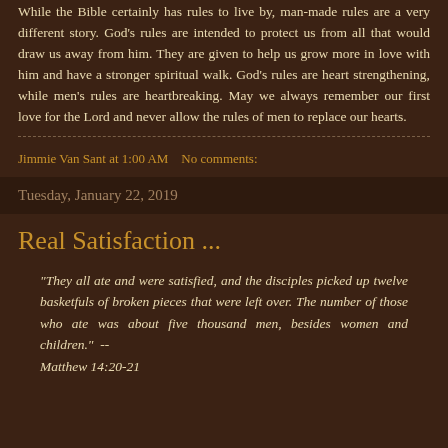While the Bible certainly has rules to live by, man-made rules are a very different story. God's rules are intended to protect us from all that would draw us away from him. They are given to help us grow more in love with him and have a stronger spiritual walk. God's rules are heart strengthening, while men's rules are heartbreaking. May we always remember our first love for the Lord and never allow the rules of men to replace our hearts.
Jimmie Van Sant at 1:00 AM   No comments:
Tuesday, January 22, 2019
Real Satisfaction ...
"They all ate and were satisfied, and the disciples picked up twelve basketfuls of broken pieces that were left over. The number of those who ate was about five thousand men, besides women and children." -- Matthew 14:20-21